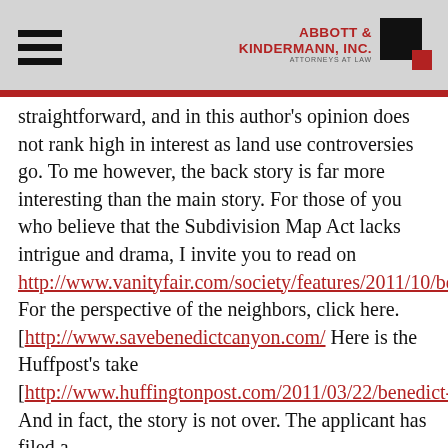Abbott & Kindermann, Inc. — Attorneys at Law
straightforward, and in this author's opinion does not rank high in interest as land use controversies go. To me however, the back story is far more interesting than the main story. For those of you who believe that the Subdivision Map Act lacks intrigue and drama, I invite you to read on http://www.vanityfair.com/society/features/2011/10/benedict-canyon-201110. For the perspective of the neighbors, click here. [http://www.savebenedictcanyon.com/ Here is the Huffpost's take [http://www.huffingtonpost.com/2011/03/22/benedict-canyon-megamansi_n_839095.html] And in fact, the story is not over. The applicant has filed a